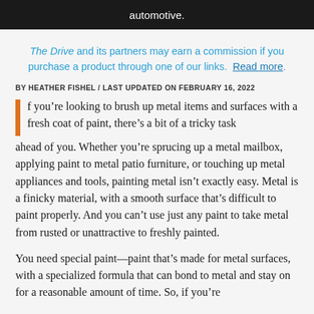automotive.
The Drive and its partners may earn a commission if you purchase a product through one of our links. Read more.
BY HEATHER FISHEL / LAST UPDATED ON FEBRUARY 16, 2022
f you’re looking to brush up metal items and surfaces with a fresh coat of paint, there’s a bit of a tricky task ahead of you. Whether you’re sprucing up a metal mailbox, applying paint to metal patio furniture, or touching up metal appliances and tools, painting metal isn’t exactly easy. Metal is a finicky material, with a smooth surface that’s difficult to paint properly. And you can’t use just any paint to take metal from rusted or unattractive to freshly painted.
You need special paint—paint that’s made for metal surfaces, with a specialized formula that can bond to metal and stay on for a reasonable amount of time. So, if you’re